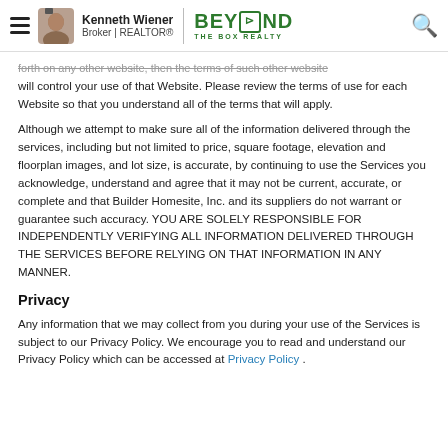Kenneth Wiener Broker | REALTOR® | BEYOND THE BOX REALTY
forth on any other website, then the terms of such other website will control your use of that Website. Please review the terms of use for each Website so that you understand all of the terms that will apply.
Although we attempt to make sure all of the information delivered through the services, including but not limited to price, square footage, elevation and floorplan images, and lot size, is accurate, by continuing to use the Services you acknowledge, understand and agree that it may not be current, accurate, or complete and that Builder Homesite, Inc. and its suppliers do not warrant or guarantee such accuracy. YOU ARE SOLELY RESPONSIBLE FOR INDEPENDENTLY VERIFYING ALL INFORMATION DELIVERED THROUGH THE SERVICES BEFORE RELYING ON THAT INFORMATION IN ANY MANNER.
Privacy
Any information that we may collect from you during your use of the Services is subject to our Privacy Policy. We encourage you to read and understand our Privacy Policy which can be accessed at Privacy Policy .